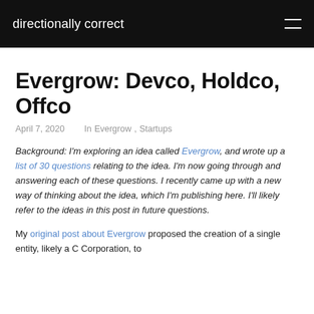directionally correct
Evergrow: Devco, Holdco, Offco
April 7, 2020    In Evergrow, Startups
Background: I'm exploring an idea called Evergrow, and wrote up a list of 30 questions relating to the idea. I'm now going through and answering each of these questions. I recently came up with a new way of thinking about the idea, which I'm publishing here. I'll likely refer to the ideas in this post in future questions.
My original post about Evergrow proposed the creation of a single entity, likely a C Corporation, to